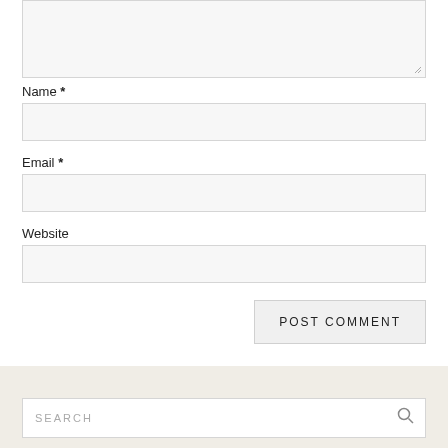[Figure (screenshot): Partial textarea input field at the top of the page, with a resize handle in the bottom-right corner]
Name *
[Figure (screenshot): Text input field for Name]
Email *
[Figure (screenshot): Text input field for Email]
Website
[Figure (screenshot): Text input field for Website]
[Figure (screenshot): POST COMMENT button aligned to the right]
[Figure (screenshot): Footer strip in beige/tan color]
[Figure (screenshot): Search bar with SEARCH placeholder text and a magnifying glass icon]